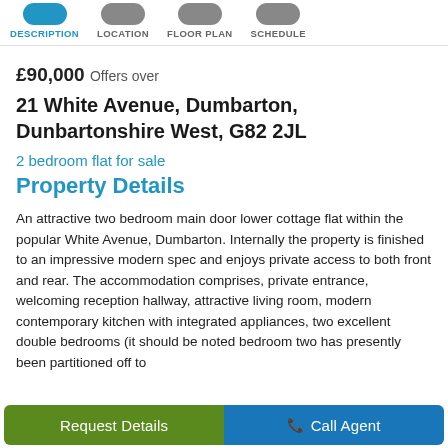DESCRIPTION | LOCATION | FLOOR PLAN | SCHEDULE
£90,000 Offers over
21 White Avenue, Dumbarton, Dunbartonshire West, G82 2JL
2 bedroom flat for sale
Property Details
An attractive two bedroom main door lower cottage flat within the popular White Avenue, Dumbarton. Internally the property is finished to an impressive modern spec and enjoys private access to both front and rear. The accommodation comprises, private entrance, welcoming reception hallway, attractive living room, modern contemporary kitchen with integrated appliances, two excellent double bedrooms (it should be noted bedroom two has presently been partitioned off to
Request Details | Call Agent